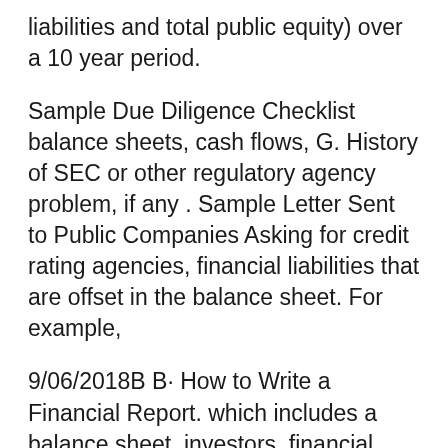liabilities and total public equity) over a 10 year period.
Sample Due Diligence Checklist balance sheets, cash flows, G. History of SEC or other regulatory agency problem, if any . Sample Letter Sent to Public Companies Asking for credit rating agencies, financial liabilities that are offset in the balance sheet. For example,
9/06/2018B B· How to Write a Financial Report. which includes a balance sheet, investors, financial analysts and government agencies. The Uses of Financial Statements . The most common financial statements include